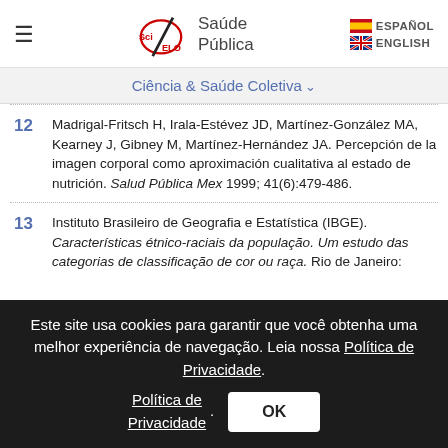SciELO Saúde Pública | ESPAÑOL | ENGLISH
Ciência & Saúde Coletiva ∨
12  Madrigal-Fritsch H, Irala-Estévez JD, Martínez-González MA, Kearney J, Gibney M, Martínez-Hernández JA. Percepción de la imagen corporal como aproximación cualitativa al estado de nutrición. Salud Pública Mex 1999; 41(6):479-486.
13  Instituto Brasileiro de Geografia e Estatística (IBGE). Características étnico-raciais da população. Um estudo das categorias de classificação de cor ou raça. Rio de Janeiro:
Este site usa cookies para garantir que você obtenha uma melhor experiência de navegação. Leia nossa Política de Privacidade. OK